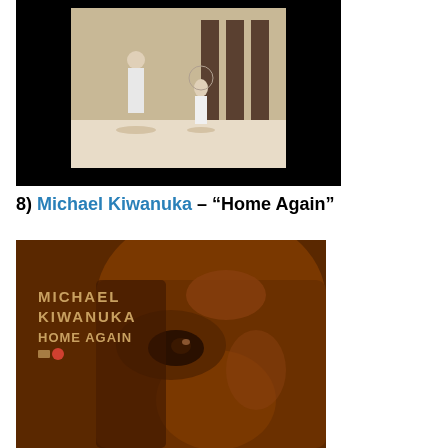[Figure (photo): Black and white photograph of two people outdoors on a black background, displayed like a print or album cover image]
8) Michael Kiwanuka – “Home Again”
[Figure (photo): Album cover for Michael Kiwanuka 'Home Again' showing a close-up of a man's face against a warm brown/sepia background with the artist and album name text in the upper left]